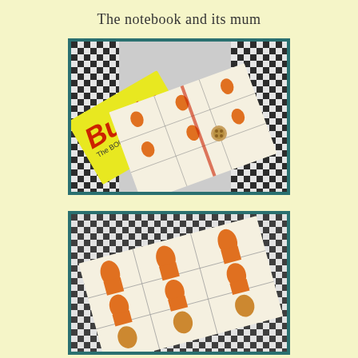The notebook and its mum
[Figure (photo): A Bunty 'The Book for Girls 1977' annual lying open on a black and white gingham/checkered fabric background, with a handmade notebook featuring orange and red comic strip pages and a wooden button closure on top of it.]
[Figure (photo): Close-up view of the handmade notebook made from Bunty comic strip pages showing orange and black illustrated panels of girls in 1970s fashion, lying on a black and white gingham fabric background.]